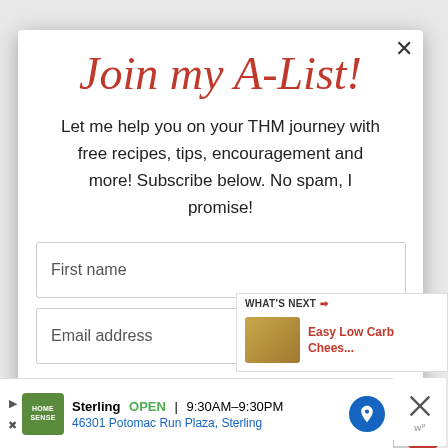Join my A-List!
Let me help you on your THM journey with free recipes, tips, encouragement and more! Subscribe below. No spam, I promise!
First name
Email address
How can I best help you...
WHAT'S NEXT → Easy Low Carb Chees...
Sterling  OPEN  9:30AM–9:30PM
46301 Potomac Run Plaza, Sterling